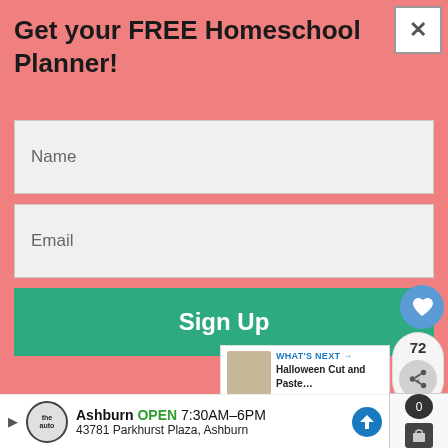Get your FREE Homeschool Planner!
Name
Email
Sign Up
[Figure (screenshot): Social share badge with heart icon and share button showing count 72]
[Figure (screenshot): What's Next panel showing Halloween Cut and Paste... article thumbnail]
[Figure (screenshot): affordablehomeschooling.com watermark strip]
[Figure (screenshot): Ad bar: Ashburn OPEN 7:30AM-6PM, 43781 Parkhurst Plaza, Ashburn with The Auto logo and navigation icon]